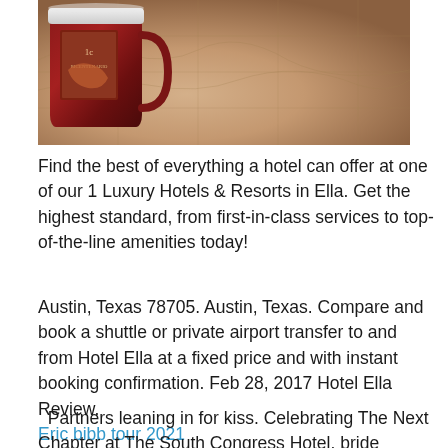[Figure (photo): A decorative mug with a stamp design sitting on a textured map background, warm brown tones]
Find the best of everything a hotel can offer at one of our 1 Luxury Hotels & Resorts in Ella. Get the highest standard, from first-in-class services to top-of-the-line amenities today!
Austin, Texas 78705. Austin, Texas. Compare and book a shuttle or private airport transfer to and from Hotel Ella at a fixed price and with instant booking confirmation. Feb 28, 2017 Hotel Ella Review.
Eric bibb tour 2021
Partners leaning in for kiss. Celebrating The Next Chapter at The South Congress Hotel. bride